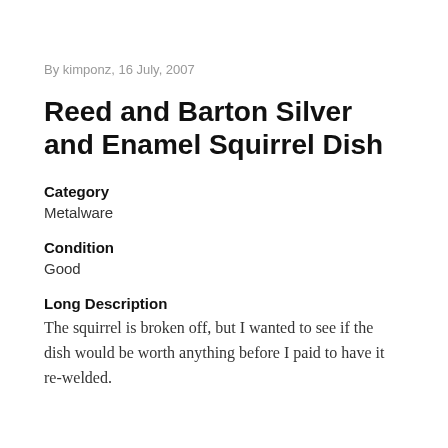By kimponz, 16 July, 2007
Reed and Barton Silver and Enamel Squirrel Dish
Category
Metalware
Condition
Good
Long Description
The squirrel is broken off, but I wanted to see if the dish would be worth anything before I paid to have it re-welded.